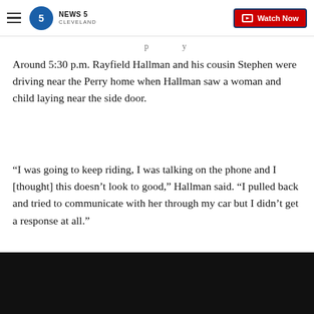News 5 Cleveland — Watch Now
Around 5:30 p.m. Rayfield Hallman and his cousin Stephen were driving near the Perry home when Hallman saw a woman and child laying near the side door.
“I was going to keep riding, I was talking on the phone and I [thought] this doesn’t look to good,” Hallman said. “I pulled back and tried to communicate with her through my car but I didn’t get a response at all.”
The two men approached the two women when th…